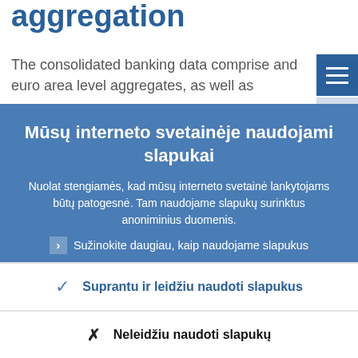aggregation
The consolidated banking data comprise and euro area level aggregates, as well as
Mūsų interneto svetainėje naudojami slapukai
Nuolat stengiamės, kad mūsų interneto svetainė lankytojams būtų patogesnė. Tam naudojame slapukų surinktus anoniminius duomenis.
Sužinokite daugiau, kaip naudojame slapukus
Suprantu ir leidžiu naudoti slapukus
Neleidžiu naudoti slapukų